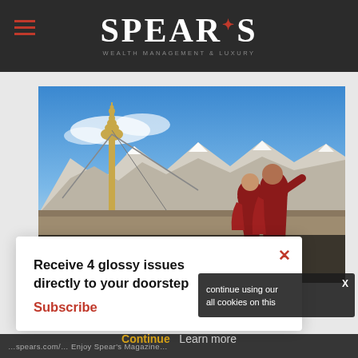SPEAR'S
[Figure (photo): Two Buddhist monks in red robes standing on a rooftop with a golden stupa ornament in the foreground and snow-capped mountains under a blue sky in the background]
Receive 4 glossy issues directly to your doorstep
Subscribe
continue using our all cookies on this
Continue    Learn more